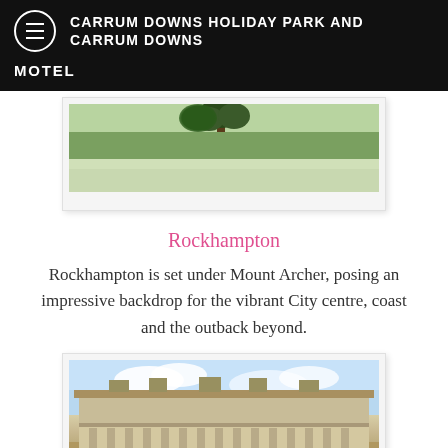CARRUM DOWNS HOLIDAY PARK AND CARRUM DOWNS MOTEL
[Figure (photo): Aerial/elevated landscape photo showing a panoramic view of a city or town with vegetation and a tall tree in the foreground]
Rockhampton
Rockhampton is set under Mount Archer, posing an impressive backdrop for the vibrant City centre, coast and the outback beyond.
[Figure (photo): Photo of a historic two-storey colonial-style building with wide verandahs, appearing to be an old hotel or heritage building]
Charters Towers